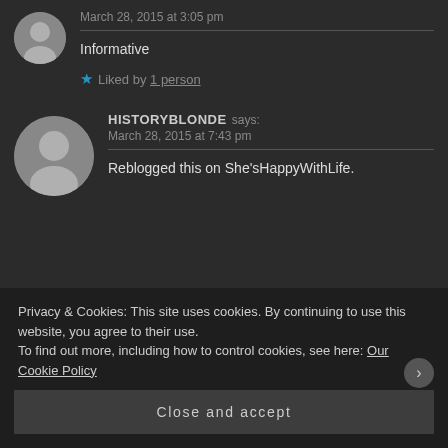March 28, 2015 at 3:05 pm
Informative
Liked by 1 person
HISTORYBLONDE says:
March 28, 2015 at 7:43 pm
Reblogged this on She'sHappyWithLife.
Privacy & Cookies: This site uses cookies. By continuing to use this website, you agree to their use.
To find out more, including how to control cookies, see here: Our Cookie Policy
Close and accept